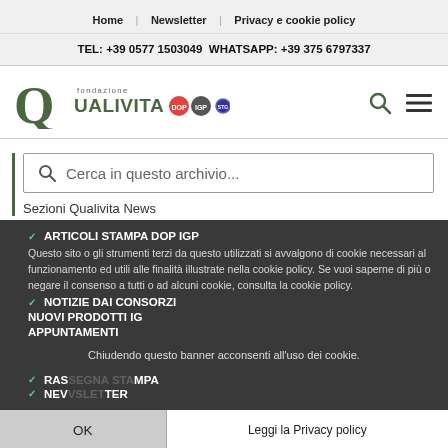Home | Newsletter | Privacy e cookie policy
TEL: +39 0577 1503049  WHATSAPP: +39 375 6797337
[Figure (logo): Fondazione Qualivita logo with green Q, text 'fondazione QUALIVITA' and DOP/IGP/STG certification icons]
[Figure (other): Search and hamburger menu icons]
Cerca in questo archivio...
Sezioni Qualivita News
ARTICOLI STAMPA DOP IGP
NOTIZIE DAI CONSORZI
NUOVI PRODOTTI IG
APPUNTAMENTI
Questo sito o gli strumenti terzi da questo utilizzati si avvalgono di cookie necessari al funzionamento ed utili alle finalità illustrate nella cookie policy. Se vuoi saperne di più o negare il consenso a tutti o ad alcuni cookie, consulta la cookie policy.
Chiudendo questo banner acconsenti all'uso dei cookie.
RASSEGNA STAMPA
NEWSLETTER
OK
Leggi la Privacy policy